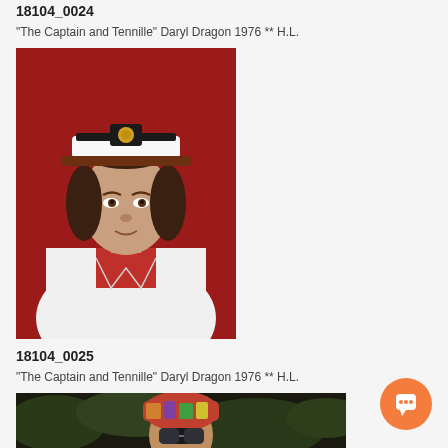18104_0024
"The Captain and Tennille" Daryl Dragon 1976 ** H.L.
[Figure (photo): Portrait photo of Daryl Dragon (The Captain) wearing a white captain's hat with gold emblem and a white jacket over a red turtleneck, against a red background, 1976]
18104_0025
"The Captain and Tennille" Daryl Dragon 1976 ** H.L.
[Figure (photo): Partial photo of a person wearing a colorful headwrap and sunglasses outdoors with greenery in background]